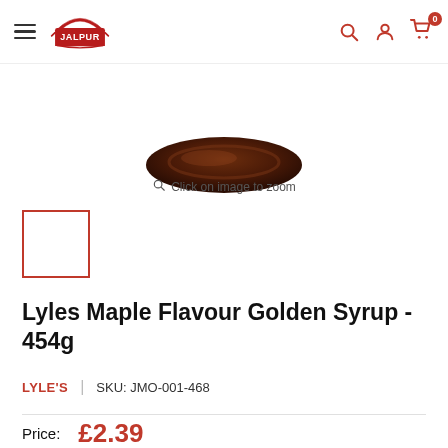Jalpur — Navigation bar with hamburger menu, logo, search, account, and cart icons
[Figure (photo): Bottom portion of a dark reddish-brown bowl/dish product image on a white background]
Click on image to zoom
[Figure (photo): Small thumbnail image placeholder with red border, selected state]
Lyles Maple Flavour Golden Syrup - 454g
LYLE'S   |   SKU: JMO-001-468
Price:   £2.39